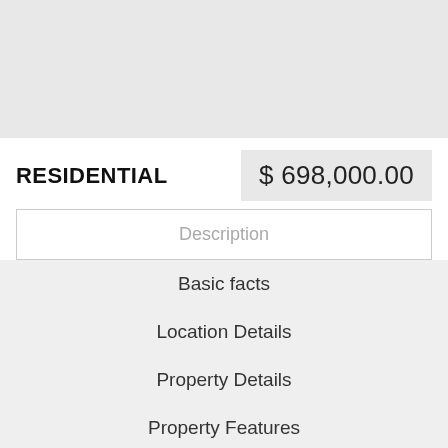[Figure (photo): Gray placeholder photo area at top of real estate listing]
RESIDENTIAL
$ 698,000.00
Description
Basic facts
Location Details
Property Details
Property Features
Miscellaneous
Agent Info